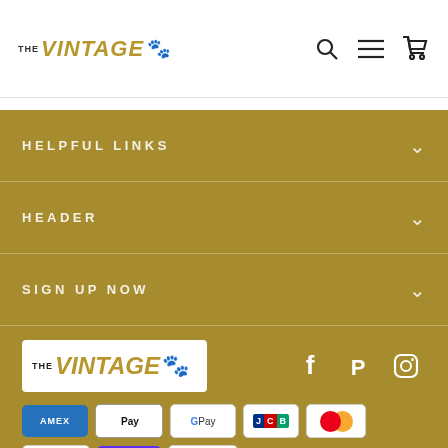THE VINTAGE [paw icon] with search, menu, and cart icons
HELPFUL LINKS
HEADER
SIGN UP NOW
[Figure (logo): THE VINTAGE paw print logo in white box on gold background]
[Figure (infographic): Social media icons: Facebook, Pinterest, Instagram]
[Figure (infographic): Payment badges: AMEX, Apple Pay, Google Pay, JCB, Mastercard, PayPal, ShopPay, Visa]